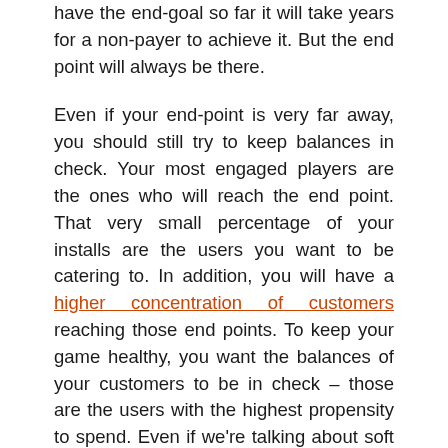have the end-goal so far it will take years for a non-payer to achieve it. But the end point will always be there.

Even if your end-point is very far away, you should still try to keep balances in check. Your most engaged players are the ones who will reach the end point. That very small percentage of your installs are the users you want to be catering to. In addition, you will have a higher concentration of customers reaching those end points. To keep your game healthy, you want the balances of your customers to be in check – those are the users with the highest propensity to spend. Even if we're talking about soft currency, scarcity is always an opportunity to monetize.